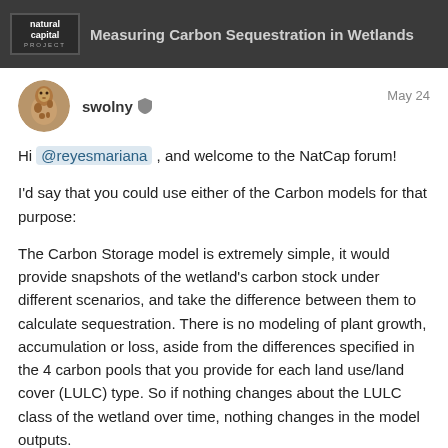natural capital PROJECT  Measuring Carbon Sequestration in Wetlands
swolny  May 24
Hi @reyesmariana , and welcome to the NatCap forum!
I'd say that you could use either of the Carbon models for that purpose:
The Carbon Storage model is extremely simple, it would provide snapshots of the wetland's carbon stock under different scenarios, and take the difference between them to calculate sequestration. There is no modeling of plant growth, accumulation or loss, aside from the differences specified in the 4 carbon pools that you provide for each land use/land cover (LULC) type. So if nothing changes about the LULC class of the wetland over time, nothing changes in the model outputs.
Blue Carbon has a little more complexity. A carbon pool data for each LULC type, it all